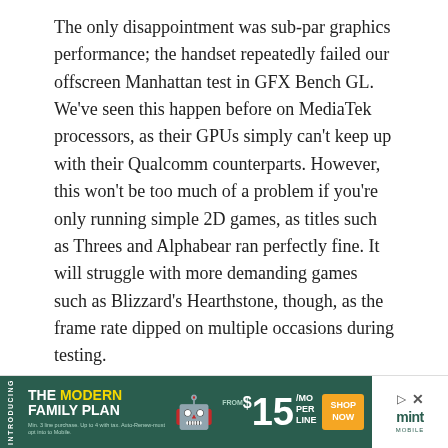The only disappointment was sub-par graphics performance; the handset repeatedly failed our offscreen Manhattan test in GFX Bench GL. We've seen this happen before on MediaTek processors, as their GPUs simply can't keep up with their Qualcomm counterparts. However, this won't be too much of a problem if you're only running simple 2D games, as titles such as Threes and Alphabear ran perfectly fine. It will struggle with more demanding games such as Blizzard's Hearthstone, though, as the frame rate dipped on multiple occasions during testing.
Battery Life
You'll want to minimise the time you spend playing games on the Liquid Jade Z, though, as its 2,300mAh battery life only lasted 8h 19m in our continuous video playback test with the screen brightness set to 170cd/m2. While this is probably just about average to most though the day, it's still a little disappointing for a smartphone. Smartphones...
[Figure (other): Advertisement banner for Mint Mobile Modern Family Plan: green background with yellow accent, offering plans from $15/month per line, with shop now button and Mint Mobile logo.]